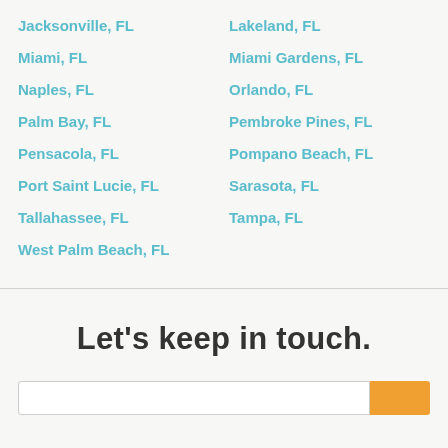Jacksonville, FL
Lakeland, FL
Miami, FL
Miami Gardens, FL
Naples, FL
Orlando, FL
Palm Bay, FL
Pembroke Pines, FL
Pensacola, FL
Pompano Beach, FL
Port Saint Lucie, FL
Sarasota, FL
Tallahassee, FL
Tampa, FL
West Palm Beach, FL
Let's keep in touch.